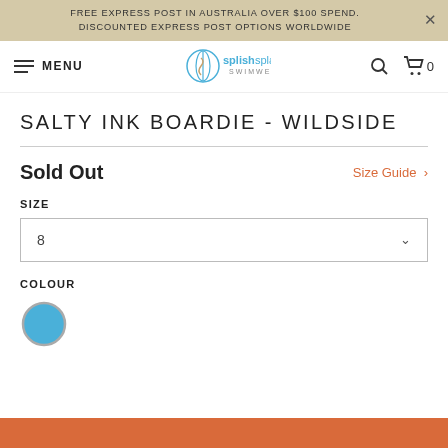FREE EXPRESS POST IN AUSTRALIA OVER $100 SPEND. DISCOUNTED EXPRESS POST OPTIONS WORLDWIDE
[Figure (logo): SplishSplash Swimwear logo with navigation menu, search icon, and cart icon showing 0 items]
SALTY INK BOARDIE - WILDSIDE
Sold Out
Size Guide >
SIZE
8
COLOUR
[Figure (illustration): Blue circular colour swatch]